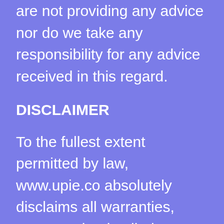are not providing any advice nor do we take any responsibility for any advice received in this regard.
DISCLAIMER
To the fullest extent permitted by law, www.upie.co absolutely disclaims all warranties, expressed or implied, including, but not limited to, implied warranties of merchantability and fitness for any particular purpose. www.upie.co gives no warranty that the